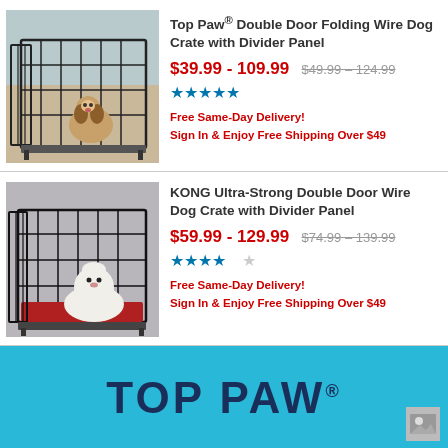[Figure (photo): Cavalier King Charles Spaniel sitting inside a black wire dog crate with divider panel, on a wooden floor]
Top Paw® Double Door Folding Wire Dog Crate with Divider Panel
$39.99 - 109.99  $49.99 – 124.99
[Figure (other): 4.5 star rating shown in blue stars]
Free Same-Day Delivery!
Sign In & Enjoy Free Shipping Over $49
[Figure (photo): White fluffy dog sitting inside a black wire dog crate with red mat and divider panel, on a gray background]
KONG Ultra-Strong Double Door Wire Dog Crate with Divider Panel
$59.99 - 129.99  $74.99 – 139.99
[Figure (other): 4 star rating shown in blue stars]
Free Same-Day Delivery!
Sign In & Enjoy Free Shipping Over $49
[Figure (logo): Top Paw brand advertisement banner with teal/cyan background and dark navy bold text reading TOP PAW with registered trademark symbol]